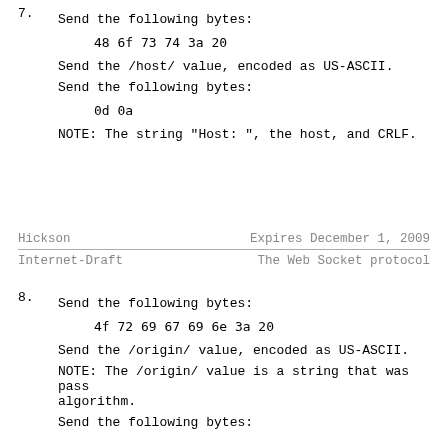7. Send the following bytes:
   48 6f 73 74 3a 20
   Send the /host/ value, encoded as US-ASCII.
   Send the following bytes:
   0d 0a
   NOTE: The string "Host: ", the host, and CRLF.
Hickson                    Expires December 1, 2009
Internet-Draft             The Web Socket protocol
8. Send the following bytes:
   4f 72 69 67 69 6e 3a 20
   Send the /origin/ value, encoded as US-ASCII.
   NOTE: The /origin/ value is a string that was pass algorithm.
   Send the following bytes: